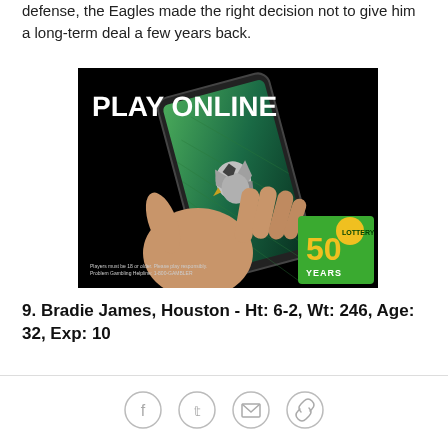defense, the Eagles made the right decision not to give him a long-term deal a few years back.
[Figure (photo): Advertisement for Pennsylvania Lottery 'Play Online' featuring a hand holding a smartphone with the Philadelphia Eagles logo on screen, and the Pennsylvania Lottery 50 Years badge in the corner.]
9. Bradie James, Houston - Ht: 6-2, Wt: 246, Age: 32, Exp: 10
[Figure (infographic): Social media share icons: Facebook, Twitter, Email, Link]